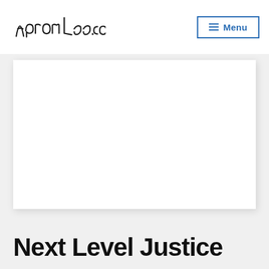AaronLee.co — Menu
[Figure (photo): Large white/blank image area with light shadow border, representing a featured image placeholder on the AaronLee.co blog page]
Next Level Justice